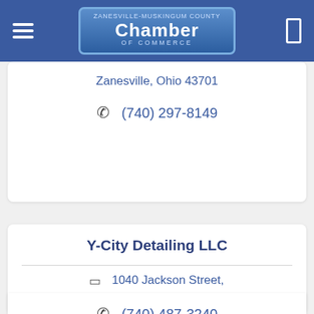[Figure (logo): Zanesville-Muskingum County Chamber of Commerce logo on blue navigation bar with hamburger menu icon and search icon]
Zanesville, Ohio 43701
(740) 297-8149
Y-City Detailing LLC
1040 Jackson Street, zanesville, OH 43701
(740) 487-3240